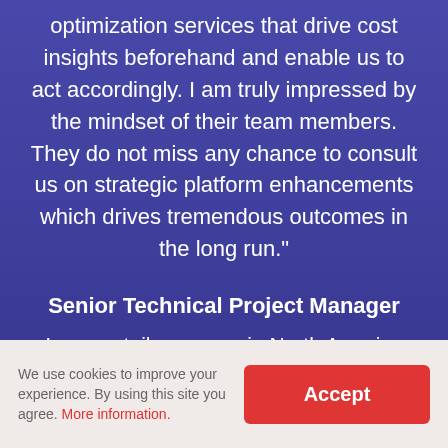optimization services that drive cost insights beforehand and enable us to act accordingly. I am truly impressed by the mindset of their team members. They do not miss any chance to consult us on strategic platform enhancements which drives tremendous outcomes in the long run."
Senior Technical Project Manager
Large retail company in North America
We use cookies to improve your experience. By using this site you agree. More information.